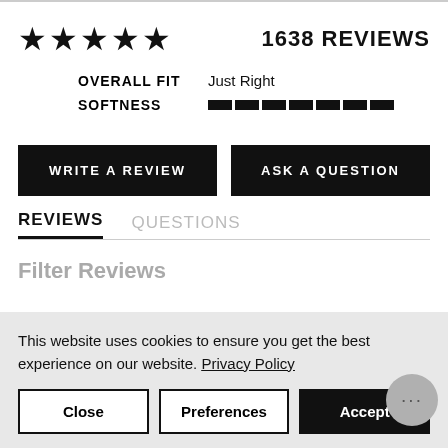★★★★★  1638 REVIEWS
OVERALL FIT   Just Right
SOFTNESS  [bar indicator]
WRITE A REVIEW
ASK A QUESTION
REVIEWS   QUESTIONS
Filter Reviews
This website uses cookies to ensure you get the best experience on our website. Privacy Policy
Close
Preferences
Accept